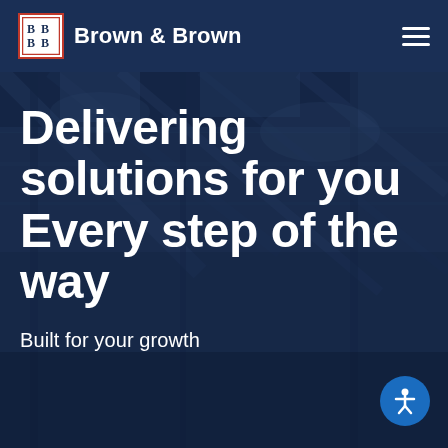Brown & Brown
[Figure (photo): Blurred interior architectural photo of a modern building with steel beams and glass ceiling, used as hero background]
Delivering solutions for you Every step of the way
Built for your growth